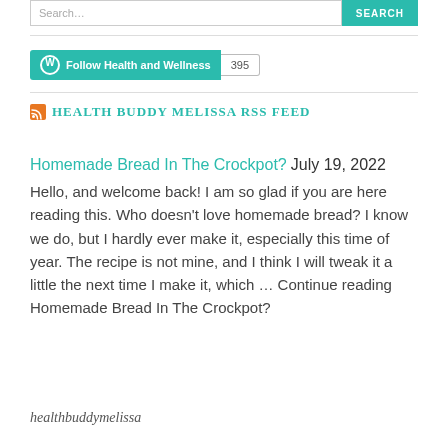Search...  SEARCH
Follow Health and Wellness  395
HEALTH BUDDY MELISSA RSS FEED
Homemade Bread In The Crockpot? July 19, 2022 Hello, and welcome back! I am so glad if you are here reading this. Who doesn't love homemade bread? I know we do, but I hardly ever make it, especially this time of year. The recipe is not mine, and I think I will tweak it a little the next time I make it, which … Continue reading Homemade Bread In The Crockpot?
healthbuddymelissa